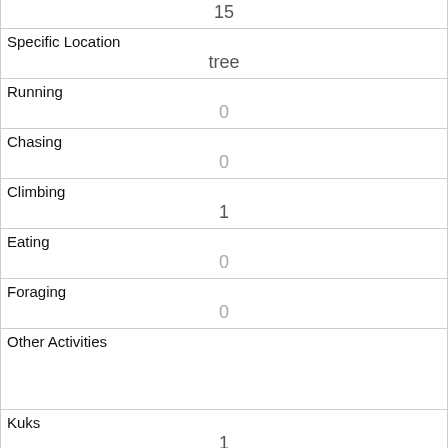| 15 |
| Specific Location
tree |
| Running
0 |
| Chasing
0 |
| Climbing
1 |
| Eating
0 |
| Foraging
0 |
| Other Activities
 |
| Kuks
1 |
| Quaas
0 |
| Moans
0 |